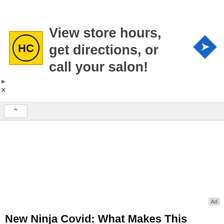[Figure (other): Top advertisement banner: HC (Hair Cuttery) yellow logo square with text 'View store hours, get directions, or call your salon!' and a blue navigation/map diamond icon on the right. Play and X controls on the left edge.]
View store hours, get directions, or call your salon!
[Figure (other): Collapsed/expandable tab with up-caret (^) button]
[Figure (other): Advertisement placeholder area with 'Ad' badge in bottom right corner]
New Ninja Covid: What Makes This Variant So Much More Contagious?
BRAINBERRIES
[Figure (photo): Partial image of a pink smoothie/drink with red granular content visible at top of image]
[Figure (other): BigBlue Swim School advertisement banner: dark navy background with 'SAFER SWIMMING STARTS AT' text, BigBlue logo, 'SWIM SCHOOL', 'DULLES' text, pool background image, and orange 'REGISTER NOW!' CTA button. Play and X ad controls in top right.]